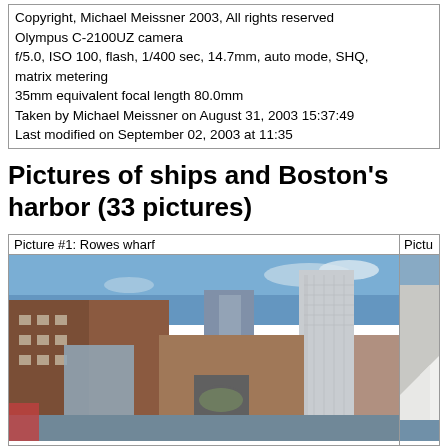Copyright, Michael Meissner 2003, All rights reserved
Olympus C-2100UZ camera
f/5.0, ISO 100, flash, 1/400 sec, 14.7mm, auto mode, SHQ, matrix metering
35mm equivalent focal length 80.0mm
Taken by Michael Meissner on August 31, 2003 15:37:49
Last modified on September 02, 2003 at 11:35
Pictures of ships and Boston's harbor (33 pictures)
[Figure (photo): Picture #1: Rowes wharf - photograph of Boston harbor waterfront buildings including brick architecture with arched gateway, modern glass skyscrapers, and blue sky]
[Figure (photo): Partial view of second picture (cut off at right edge)]